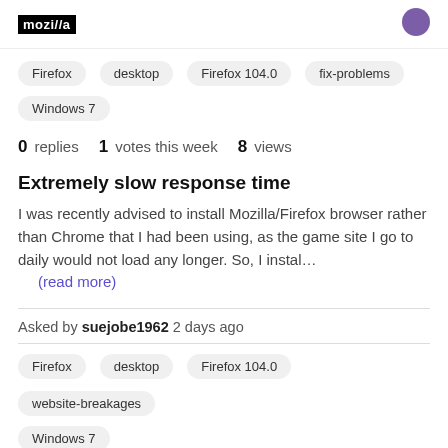mozilla
Firefox
desktop
Firefox 104.0
fix-problems
Windows 7
0 replies  1 votes this week  8 views
Extremely slow response time
I was recently advised to install Mozilla/Firefox browser rather than Chrome that I had been using, as the game site I go to daily would not load any longer. So, I instal…
(read more)
Asked by suejobe1962 2 days ago
Firefox
desktop
Firefox 104.0
website-breakages
Windows 7